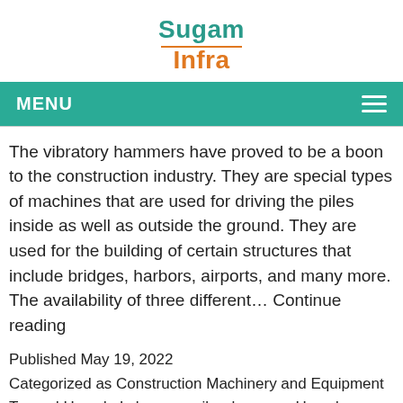[Figure (logo): Sugam Infra logo with teal 'Sugam' text and orange 'Infra' text, with an orange underline beneath 'Sugam']
MENU
The vibratory hammers have proved to be a boon to the construction industry. They are special types of machines that are used for driving the piles inside as well as outside the ground. They are used for the building of certain structures that include bridges, harbors, airports, and many more. The availability of three different… Continue reading
Published May 19, 2022
Categorized as Construction Machinery and Equipment
Tagged How do I choose a vibro hammer, How does a vibratory pile hammer work, How Does Vibro Hammer